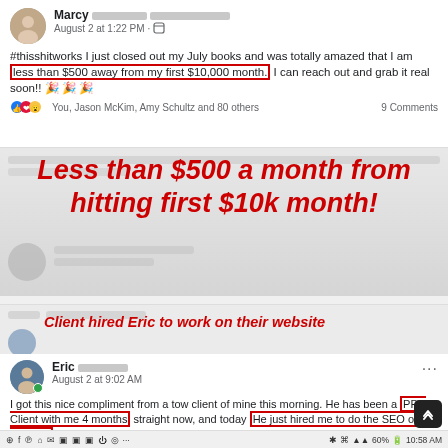[Figure (screenshot): Facebook post by Marcy about being less than $500 away from first $10,000 month, with highlighted text, reactions, and overlaid red bold italic text 'Less than $500 a month from hitting first $10k month!']
Less than $500 a month from hitting first $10k month!
Client hired Eric to work on their website
[Figure (screenshot): Facebook post by Eric about getting a compliment from a tow client who has been a PPC Client for 4 months and just hired him to do SEO on his website]